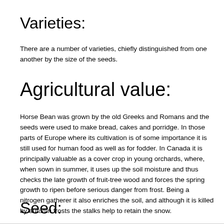Varieties:
There are a number of varieties, chiefly distinguished from one another by the size of the seeds.
Agricultural value:
Horse Bean was grown by the old Greeks and Romans and the seeds were used to make bread, cakes and porridge. In those parts of Europe where its cultivation is of some importance it is still used for human food as well as for fodder. In Canada it is principally valuable as a cover crop in young orchards, where, when sown in summer, it uses up the soil moisture and thus checks the late growth of fruit-tree wood and forces the spring growth to ripen before serious danger from frost. Being a nitrogen gatherer it also enriches the soil, and although it is killed by autumn frosts the stalks help to retain the snow.
Seed: